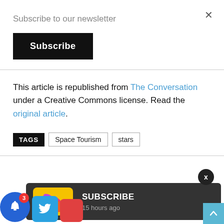Subscribe to our newsletter
Subscribe
This article is republished from The Conversation under a Creative Commons license. Read the original article.
TAGS  Space Tourism  stars
[Figure (screenshot): Bottom UI overlay showing a dark subscribe popup notification with a yellow/purple app icon, SUBSCRIBE title, '15 hours ago' timestamp, a close X circle button, social media icons (bell with badge 3, Twitter), and a scroll-to-top button.]